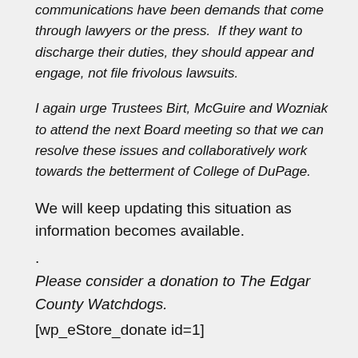communications have been demands that come through lawyers or the press.  If they want to discharge their duties, they should appear and engage, not file frivolous lawsuits.
I again urge Trustees Birt, McGuire and Wozniak to attend the next Board meeting so that we can resolve these issues and collaboratively work towards the betterment of College of DuPage.
We will keep updating this situation as information becomes available.
.
Please consider a donation to The Edgar County Watchdogs.
[wp_eStore_donate id=1]